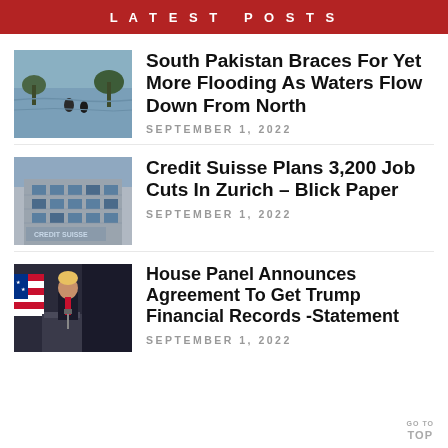LATEST POSTS
[Figure (photo): Flooding scene in Pakistan with people wading through water]
South Pakistan Braces For Yet More Flooding As Waters Flow Down From North
SEPTEMBER 1, 2022
[Figure (photo): Credit Suisse bank building with logo visible]
Credit Suisse Plans 3,200 Job Cuts In Zurich – Blick Paper
SEPTEMBER 1, 2022
[Figure (photo): Donald Trump speaking at a podium with American flag in background]
House Panel Announces Agreement To Get Trump Financial Records -Statement
SEPTEMBER 1, 2022